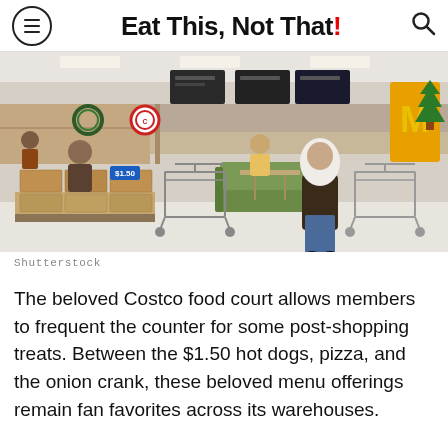Eat This, Not That!
[Figure (photo): Interior of a Costco food court with customers, shopping carts stacked with boxed goods, green booth seating, menu boards overhead, and a McDonald's sign visible on the right.]
Shutterstock
The beloved Costco food court allows members to frequent the counter for some post-shopping treats. Between the $1.50 hot dogs, pizza, and the onion crank, these beloved menu offerings remain fan favorites across its warehouses.